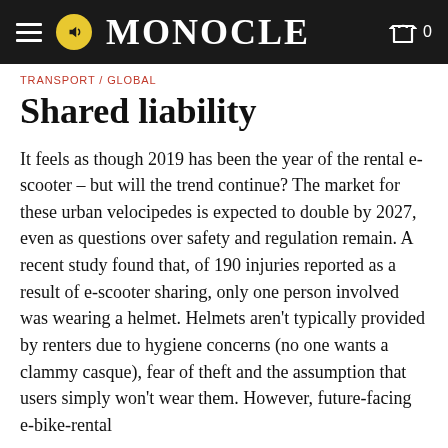MONOCLE
TRANSPORT / GLOBAL
Shared liability
It feels as though 2019 has been the year of the rental e-scooter – but will the trend continue? The market for these urban velocipedes is expected to double by 2027, even as questions over safety and regulation remain. A recent study found that, of 190 injuries reported as a result of e-scooter sharing, only one person involved was wearing a helmet. Helmets aren't typically provided by renters due to hygiene concerns (no one wants a clammy casque), fear of theft and the assumption that users simply won't wear them. However, future-facing e-bike-rental